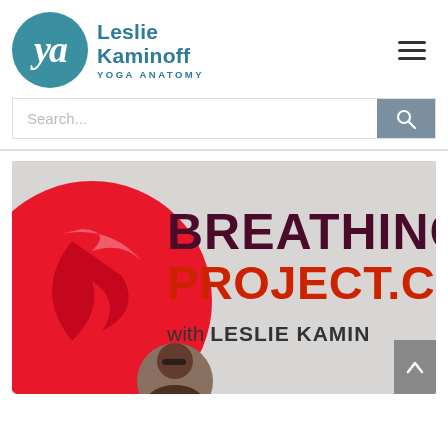[Figure (logo): Leslie Kaminoff Yoga Anatomy logo — circular emblem with stylized 'y/a' letters in teal, next to the text 'Leslie Kaminoff YOGA ANATOMY' in teal]
[Figure (screenshot): Website screenshot showing the Breathing Project website banner with large red circle on left, text 'BREATHING PROJECT.CO with LESLIE KAMIN' on gray background, and a person's thumbnail portrait at bottom-left]